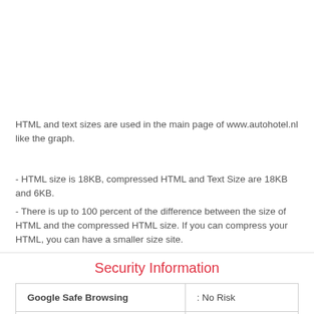HTML and text sizes are used in the main page of www.autohotel.nl like the graph.
- HTML size is 18KB, compressed HTML and Text Size are 18KB and 6KB.
- There is up to 100 percent of the difference between the size of HTML and the compressed HTML size. If you can compress your HTML, you can have a smaller size site.
Security Information
|  |  |
| --- | --- |
| Google Safe Browsing | : No Risk |
| Siteadvisor Rating | : Good |